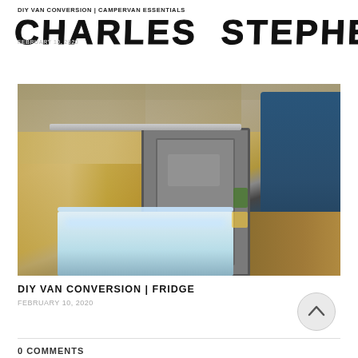DIY VAN CONVERSION | CAMPERVAN ESSENTIALS
CHARLES STEPHEN
[Figure (photo): Interior of a campervan showing a built-in fridge with open lid revealing a lit interior, set against plywood walls with a blue upholstered bench seat visible on the right.]
DIY VAN CONVERSION | FRIDGE
FEBRUARY 10, 2020
0 COMMENTS